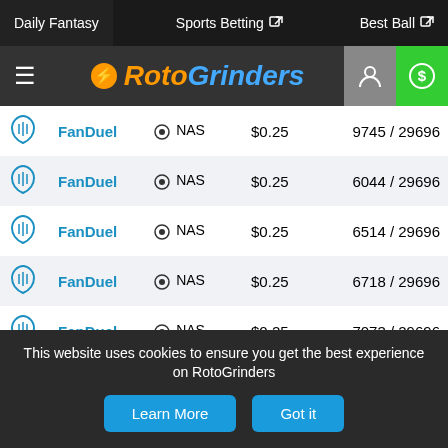Daily Fantasy | Sports Betting | Best Ball
[Figure (logo): RotoGrinders logo with hamburger menu, user icon, and dollar sign button]
| Platform | Name | Contest | Entry Fee | Entries |
| --- | --- | --- | --- | --- |
| FanDuel | FanDuel | NAS | $0.25 | 9745 / 29696 |
| FanDuel | FanDuel | NAS | $0.25 | 6044 / 29696 |
| FanDuel | FanDuel | NAS | $0.25 | 6514 / 29696 |
| FanDuel | FanDuel | NAS | $0.25 | 6718 / 29696 |
| FanDuel | FanDuel | NAS | $0.25 | 7073 / 29696 |
| FanDuel | FanDuel | NAS | $0.25 | 1150 / 29696 |
| FanDuel | FanDuel | NAS | $0.25 | 7398 / 29696 |
| FanDuel | FanDuel | NAS | $0.25 | 3321 / 29696 |
This website uses cookies to ensure you get the best experience on RotoGrinders
Learn More | Got it